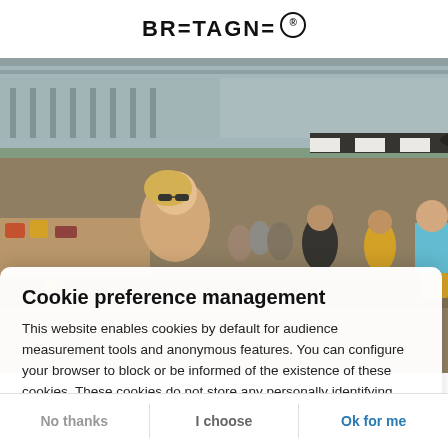BRETAGNE (logo with BE badge)
[Figure (photo): Outdoor market scene with people browsing stalls. A smiling blonde woman in sunglasses is in the foreground, with market stalls and umbrellas in the background.]
Cookie preference management
This website enables cookies by default for audience measurement tools and anonymous features. You can configure your browser to block or be informed of the existence of these cookies. These cookies do not store any personally identifying information.
Read more
No thanks | I choose | Ok for me